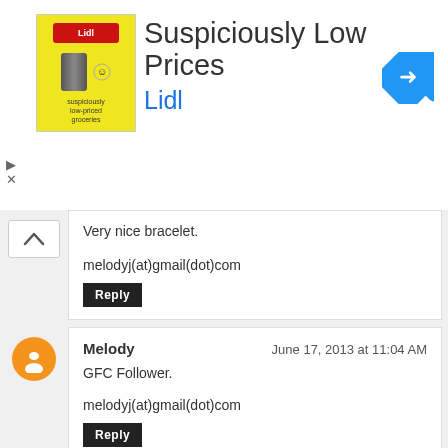[Figure (illustration): Lidl advertisement banner with yellow logo, title 'Suspiciously Low Prices', subtitle 'Lidl', and navigation arrow icon on the right. Ad controls (play and close) on left side.]
Very nice bracelet.

melodyj(at)gmail(dot)com
Reply
Melody
June 17, 2013 at 11:04 AM
GFC Follower.

melodyj(at)gmail(dot)com
Reply
Melody
June 17, 2013 at 11:04 AM
Google Reader subscribe.